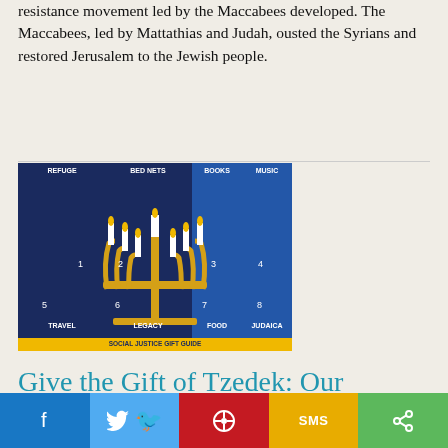resistance movement led by the Maccabees developed. The Maccabees, led by Mattathias and Judah, ousted the Syrians and restored Jerusalem to the Jewish people.
[Figure (infographic): Social Justice Gift Guide Hanukkah infographic with a menorah and 8 gift categories: REFUGE, BED NETS, BOOKS, MUSIC, TRAVEL, LEGACY, FOOD, JUDAICA. URL: trac.org/giftguide]
Give the Gift of Tzedek: Our
Facebook | Twitter | Pinterest | SMS | Share